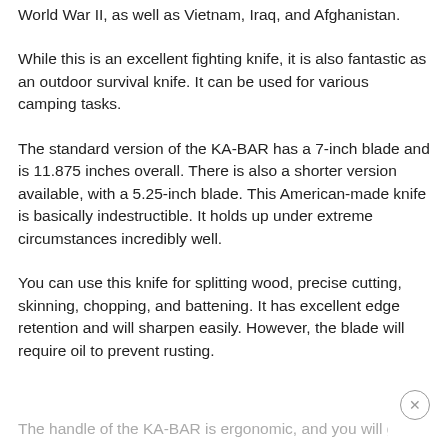World War II, as well as Vietnam, Iraq, and Afghanistan.
While this is an excellent fighting knife, it is also fantastic as an outdoor survival knife. It can be used for various camping tasks.
The standard version of the KA-BAR has a 7-inch blade and is 11.875 inches overall. There is also a shorter version available, with a 5.25-inch blade. This American-made knife is basically indestructible. It holds up under extreme circumstances incredibly well.
You can use this knife for splitting wood, precise cutting, skinning, chopping, and battening. It has excellent edge retention and will sharpen easily. However, the blade will require oil to prevent rusting.
The handle of the KA-BAR is ergonomic, and you will get...